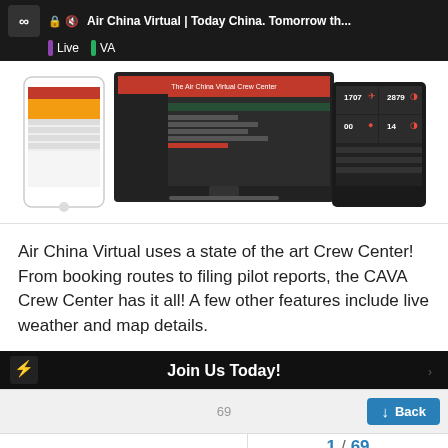Air China Virtual | Today China. Tomorrow th...
[Figure (screenshot): Screenshot showing Air China Virtual website on mobile phone, desktop monitor, and tablet devices displaying crew center interface]
Air China Virtual uses a state of the art Crew Center! From booking routes to filing pilot reports, the CAVA Crew Center has it all! A few other features include live weather and map details.
[Figure (screenshot): Bottom banner with Air China Virtual logo and 'Join Us Today!' text on dark background]
69  Back  1 / 69